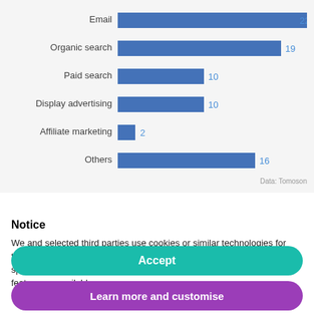[Figure (bar-chart): ]
Notice
We and selected third parties use cookies or similar technologies for technical purposes and, with your consent, for other purposes as specified in the cookie policy. Denying consent may make related features unavailable.
Use the “Accept” button to consent to the use of such technologies.
Accept
Learn more and customise